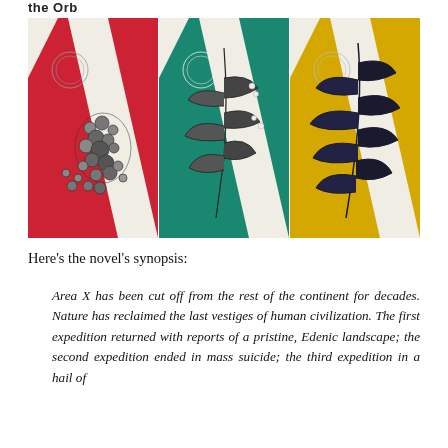the Orb
[Figure (illustration): Three book covers side by side: left panel has red background with white X stripe and black-and-white illustration of clustered berries/spores with a circular stamp; middle panel has teal/green background with white X stripe and black-and-white illustration of a feathery plant with berries and a circular stamp; right panel has yellow background with white X stripe and black-and-white illustration of dark feathers/leaves and a circular stamp.]
Here’s the novel’s synopsis:
Area X has been cut off from the rest of the continent for decades. Nature has reclaimed the last vestiges of human civilization. The first expedition returned with reports of a pristine, Edenic landscape; the second expedition ended in mass suicide; the third expedition in a hail of